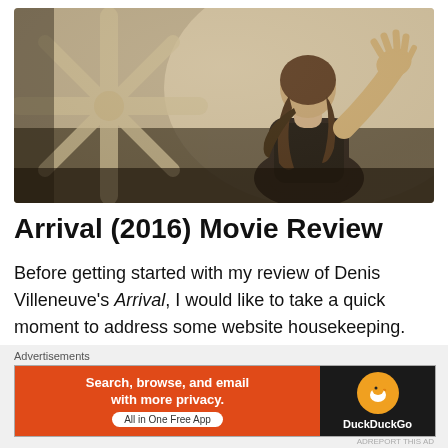[Figure (photo): Movie still from Arrival (2016): a woman seen from behind, with long hair in a ponytail, pressing her hand against a translucent surface with a large star-like alien symbol visible on the left side. Dark, moody cinematic lighting.]
Arrival (2016) Movie Review
Before getting started with my review of Denis Villeneuve's Arrival, I would like to take a quick moment to address some website housekeeping. This review marks my 400th article on CineFiles, this tiny blog I began almost two
Advertisements
[Figure (screenshot): DuckDuckGo advertisement banner. Left side: orange background with text 'Search, browse, and email with more privacy.' and 'All in One Free App'. Right side: black background with DuckDuckGo logo (orange circle with duck icon) and 'DuckDuckGo' text.]